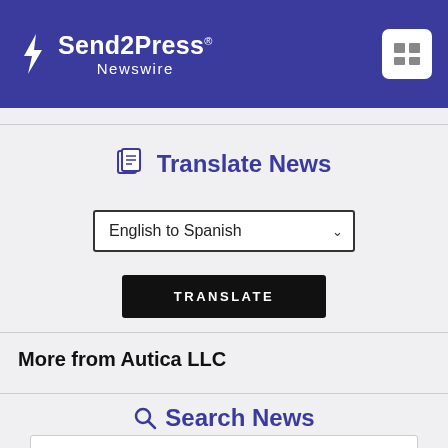Send2Press Newswire
Translate News
English to Spanish
TRANSLATE
More from Autica LLC
Search News